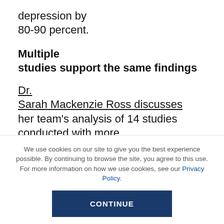depression by 80-90 percent.
Multiple studies support the same findings
Dr. Sarah Mackenzie Ross discusses her team's analysis of 14 studies conducted with more than 1,600 participants over the last two decades:
We use cookies on our site to give you the best experience possible. By continuing to browse the site, you agree to this use. For more information on how we use cookies, see our Privacy Policy.
CONTINUE